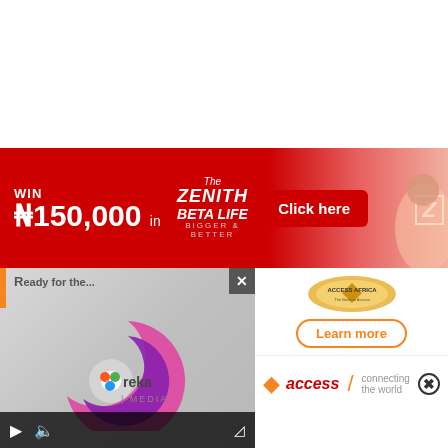[Figure (illustration): White blank area at top of page]
[Figure (illustration): Zenith Bank Beta Life banner advertisement. Red background. Text: WIN ₦150,000 in The Zenith BETA LIFE BIGGER & BETTER. Click here button. Zenith Z logo top right. Woman with confetti on right side.]
[Figure (illustration): Video player showing Ureka Media logo (pink/purple crescent moon swoosh with colorful dot). Video controls at bottom (play, volume). X close button top right. Orange vertical bar left side with partial header text.]
[Figure (logo): Access Africa logo - circular gold/orange badge design with text 'ACCESS AFRICA The Bank to Access']
[Figure (illustration): Learn more button with orange border]
[Figure (logo): Access bank logo with orange diamond and italic 'access' text, orange slash, close circle button]
[Figure (illustration): Green social media bar with Facebook, Twitter, YouTube, Instagram icons]
EAKING: Tinubu, Wike